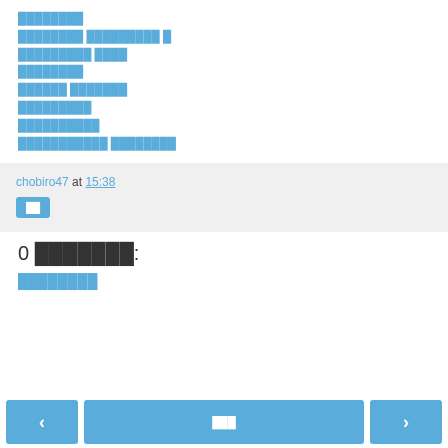████████
████████ █████████ █
█████████ ████
████████
██████ ███████
█████████
██████████
███████████ ████████
chobiro47 at 15:38
██
0 ███████:
████████
‹   ███   ›